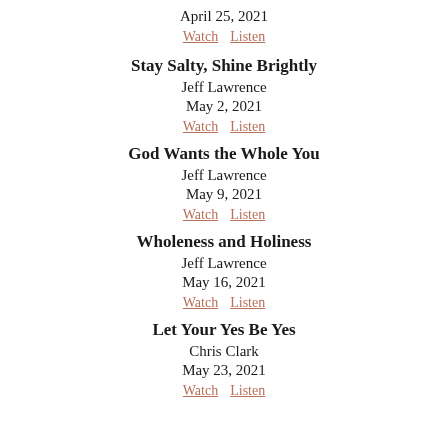April 25, 2021
Watch   Listen
Stay Salty, Shine Brightly
Jeff Lawrence
May 2, 2021
Watch   Listen
God Wants the Whole You
Jeff Lawrence
May 9, 2021
Watch   Listen
Wholeness and Holiness
Jeff Lawrence
May 16, 2021
Watch   Listen
Let Your Yes Be Yes
Chris Clark
May 23, 2021
Watch   Listen